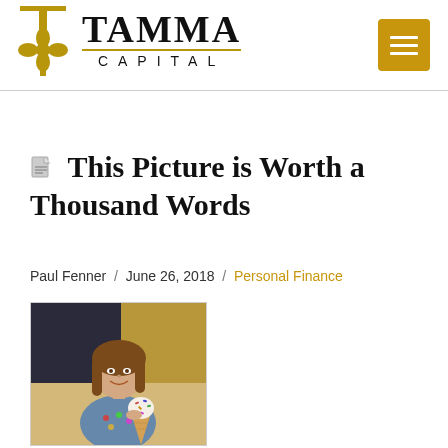TAMMA CAPITAL
This Picture is Worth a Thousand Words
Paul Fenner / June 26, 2018 / Personal Finance
[Figure (photo): Young girl smiling and holding an ice cream cone with sprinkles]